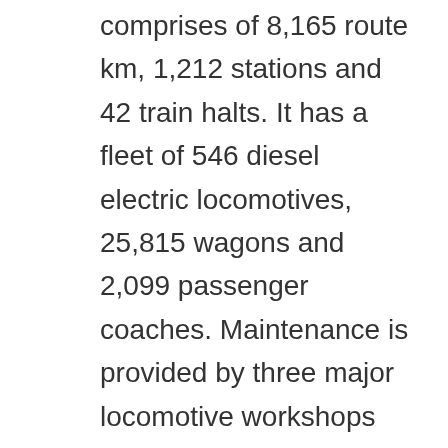comprises of 8,165 route km, 1,212 stations and 42 train halts. It has a fleet of 546 diesel electric locomotives, 25,815 wagons and 2,099 passenger coaches. Maintenance is provided by three major locomotive workshops and thirty-five smaller workshops. Signaling facilities at important stations are track circulated within interlocking limits. Most routes have VHF radio coverage for communication between train dispatchers and trains. Telephone